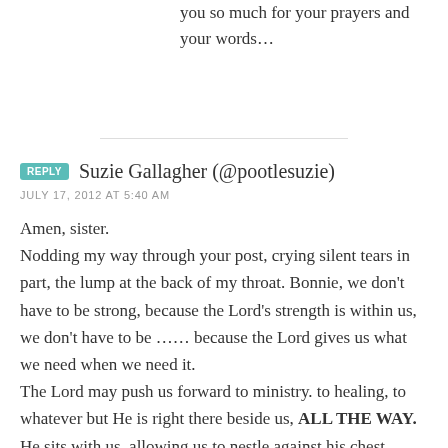you so much for your prayers and your words…
Suzie Gallagher (@pootlesuzie)
JULY 17, 2012 AT 5:40 AM
Amen, sister.
Nodding my way through your post, crying silent tears in part, the lump at the back of my throat. Bonnie, we don't have to be strong, because the Lord's strength is within us, we don't have to be …… because the Lord gives us what we need when we need it.
The Lord may push us forward to ministry. to healing, to whatever but He is right there beside us, ALL THE WAY.
He sits with us, allowing us to nestle against his chest, whilst we gather our strength, intermingled with His strength, to stand up, to